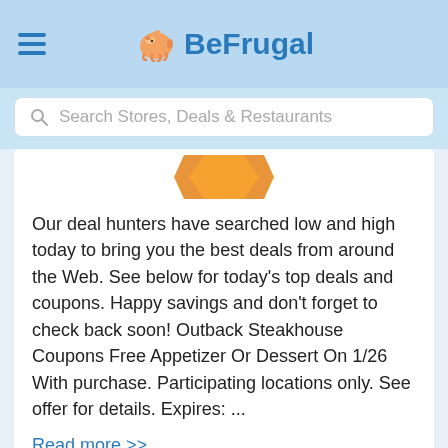BeFrugal
Search Stores, Deals & Restaurants
[Figure (illustration): Orange star/badge shape partially visible at top of content card]
Our deal hunters have searched low and high today to bring you the best deals from around the Web. See below for today’s top deals and coupons. Happy savings and don't forget to check back soon! Outback Steakhouse Coupons Free Appetizer Or Dessert On 1/26 With purchase. Participating locations only. See offer for details. Expires: ...
Read more >>
1  2  ...  15  Next →